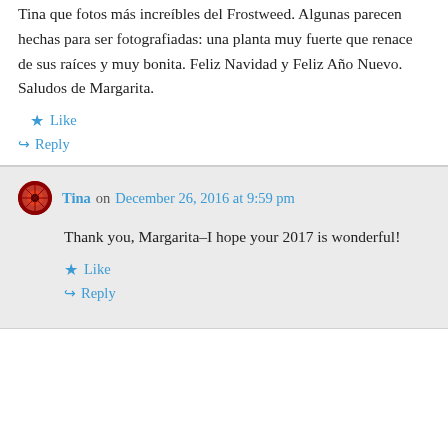Tina que fotos más increíbles del Frostweed. Algunas parecen hechas para ser fotografiadas: una planta muy fuerte que renace de sus raíces y muy bonita. Feliz Navidad y Feliz Año Nuevo. Saludos de Margarita.
★ Like
↪ Reply
Tina on December 26, 2016 at 9:59 pm
Thank you, Margarita–I hope your 2017 is wonderful!
★ Like
↪ Reply